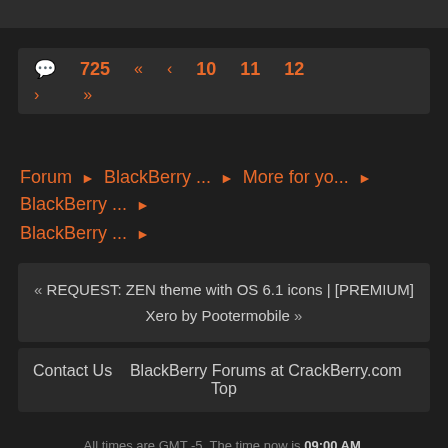[Figure (screenshot): Dark top bar at the top of the page]
💬 725  «  ‹  10  11  12  ›  »
Forum ▶ BlackBerry ... ▶ More for yo... ▶ BlackBerry ... ▶ BlackBerry ... ▶
« REQUEST: ZEN theme with OS 6.1 icons | [PREMIUM] Xero by Pootermobile »
Contact Us  BlackBerry Forums at CrackBerry.com  Top
All times are GMT -5. The time now is 09:00 AM.
Digital Point modules: Sphinx-based search